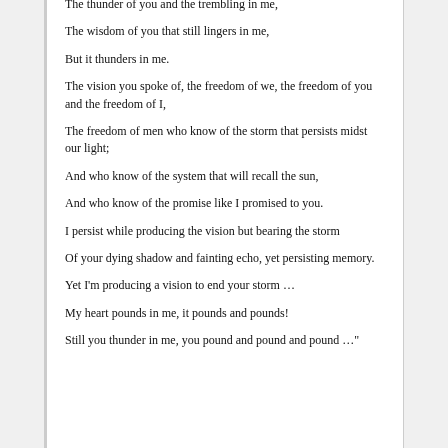The thunder of you and the trembling in me,
The wisdom of you that still lingers in me,
But it thunders in me.
The vision you spoke of, the freedom of we, the freedom of you and the freedom of I,
The freedom of men who know of the storm that persists midst our light;
And who know of the system that will recall the sun,
And who know of the promise like I promised to you.
I persist while producing the vision but bearing the storm
Of your dying shadow and fainting echo, yet persisting memory.
Yet I'm producing a vision to end your storm …
My heart pounds in me, it pounds and pounds!
Still you thunder in me, you pound and pound and pound …"